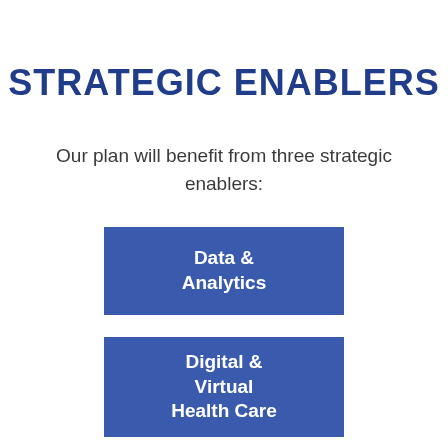STRATEGIC ENABLERS
Our plan will benefit from three strategic enablers:
[Figure (infographic): Blue rectangle box labeled 'Data & Analytics']
[Figure (infographic): Blue rectangle box labeled 'Digital & Virtual Health Care']